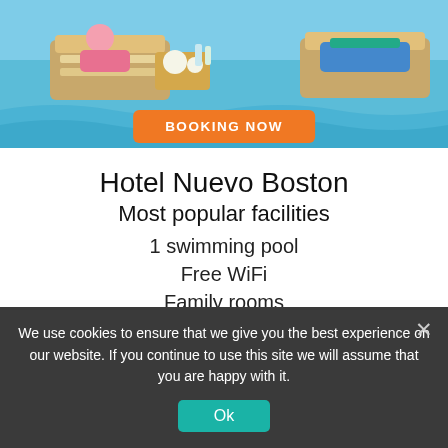[Figure (photo): Photo of a poolside area with lounge chairs, food tray, and blue water in the background]
BOOKING NOW
Hotel Nuevo Boston
Most popular facilities
1 swimming pool
Free WiFi
Family rooms
Airport shuttle (free)
Non-smoking rooms
good Fitness Center
We use cookies to ensure that we give you the best experience on our website. If you continue to use this site we will assume that you are happy with it.
Ok